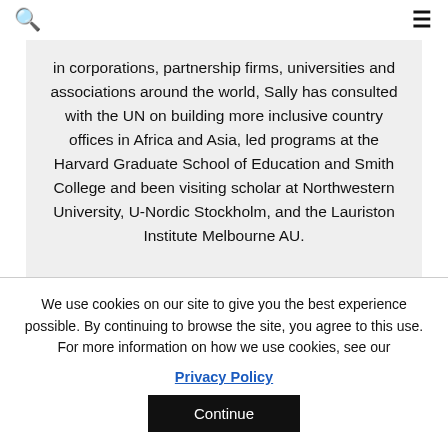🔍 ≡
in corporations, partnership firms, universities and associations around the world, Sally has consulted with the UN on building more inclusive country offices in Africa and Asia, led programs at the Harvard Graduate School of Education and Smith College and been visiting scholar at Northwestern University, U-Nordic Stockholm, and the Lauriston Institute Melbourne AU.
We use cookies on our site to give you the best experience possible. By continuing to browse the site, you agree to this use. For more information on how we use cookies, see our
Privacy Policy
Continue